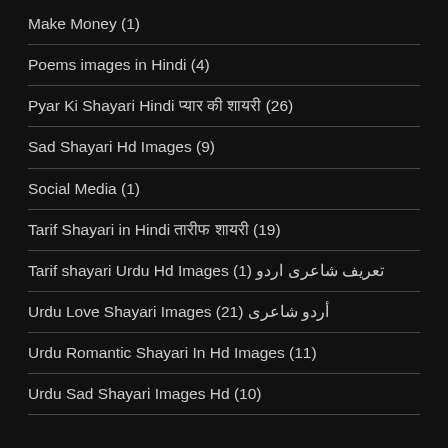Make Money (1)
Poems images in Hindi (4)
Pyar Ki Shayari Hindi प्यार की शायरी (26)
Sad Shayari Hd Images (9)
Social Media (1)
Tarif Shayari in Hindi तारीफ शायरी (19)
Tarif shayari Urdu Hd Images (1) تعریف شاعری اردو
Urdu Love Shayari Images (21) أردو شاعری
Urdu Romantic Shayari In Hd Images (11)
Urdu Sad Shayari Images Hd (10)